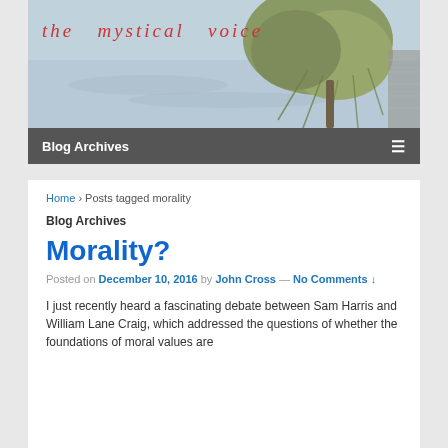[Figure (photo): Header banner image of 'the mystical voice' blog — grey water background with a willow tree on the right side. Red italic text reads 'the mystical voice'.]
Blog Archives ≡
Home › Posts tagged morality
Blog Archives
Morality?
Posted on December 10, 2016 by John Cross — No Comments ↓
I just recently heard a fascinating debate between Sam Harris and William Lane Craig, which addressed the questions of whether the foundations of moral values are